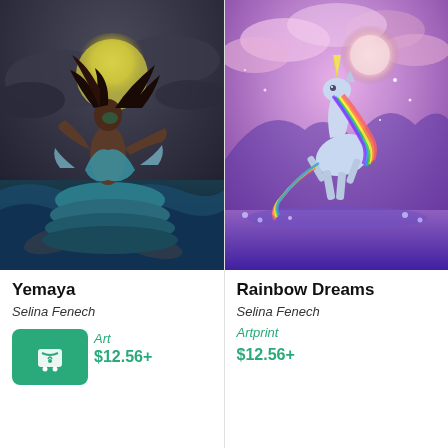[Figure (illustration): Fantasy illustration of a dark-skinned woman in a flowing teal tiered dress rising from ocean waves with dolphins, hair blowing in wind, large yellow moon behind her. Title: Yemaya by Selina Fenech.]
Yemaya
Selina Fenech
Artprint
$12.56+
[Figure (illustration): Fantasy illustration of a white unicorn with rainbow mane rearing up in a purple/lavender magical landscape with glowing moon and flowers. Title: Rainbow Dreams by Selina Fenech.]
Rainbow Dreams
Selina Fenech
Artprint
$12.56+